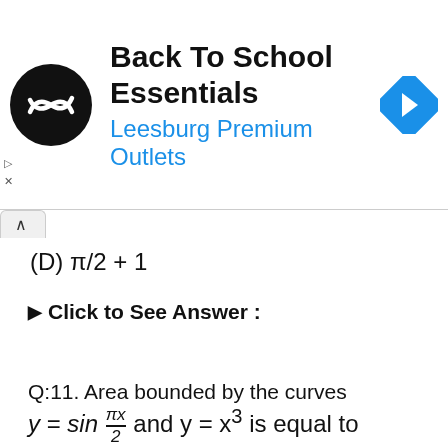[Figure (other): Advertisement banner for Back To School Essentials at Leesburg Premium Outlets with logo and navigation icon]
(D) π/2 + 1
▶ Click to See Answer :
Q:11. Area bounded by the curves y = sin(πx/2) and y = x³ is equal to
(A) (4−π)/π sq. units
(B) (4−π)/(2π) sq. units